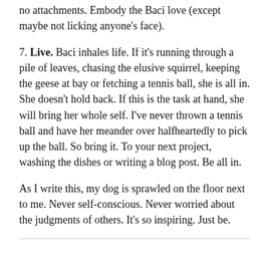unconditional love is really freeing. It lets you open with no attachments. Embody the Baci love (except maybe not licking anyone's face).
7. Live. Baci inhales life. If it's running through a pile of leaves, chasing the elusive squirrel, keeping the geese at bay or fetching a tennis ball, she is all in. She doesn't hold back. If this is the task at hand, she will bring her whole self. I've never thrown a tennis ball and have her meander over halfheartedly to pick up the ball. So bring it. To your next project, washing the dishes or writing a blog post. Be all in.
As I write this, my dog is sprawled on the floor next to me. Never self-conscious. Never worried about the judgments of others. It's so inspiring. Just be.